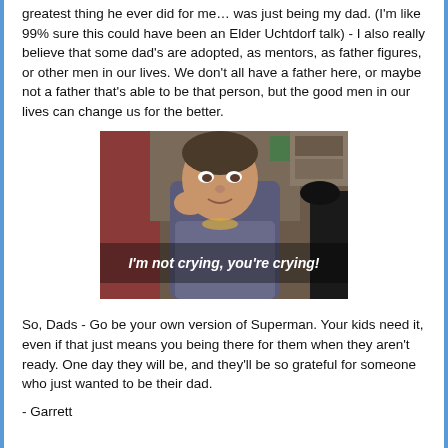greatest thing he ever did for me… was just being my dad. (I'm like 99% sure this could have been an Elder Uchtdorf talk) - I also really believe that some dad's are adopted, as mentors, as father figures, or other men in our lives. We don't all have a father here, or maybe not a father that's able to be that person, but the good men in our lives can change us for the better.
[Figure (photo): Screenshot of a man in a workshop/garage setting with text caption overlay reading 'I'm not crying, you're crying!']
So, Dads - Go be your own version of Superman. Your kids need it, even if that just means you being there for them when they aren't ready. One day they will be, and they'll be so grateful for someone who just wanted to be their dad.
- Garrett